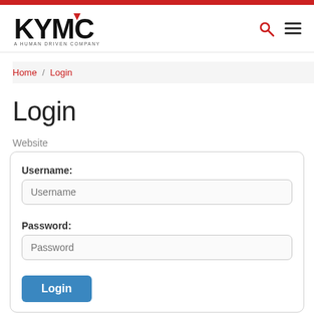[Figure (logo): KYMC logo — bold black letters KYMC with red downward triangle above, subtitle A HUMAN DRIVEN COMPANY]
Home / Login
Login
Website
Username:
Password:
Login